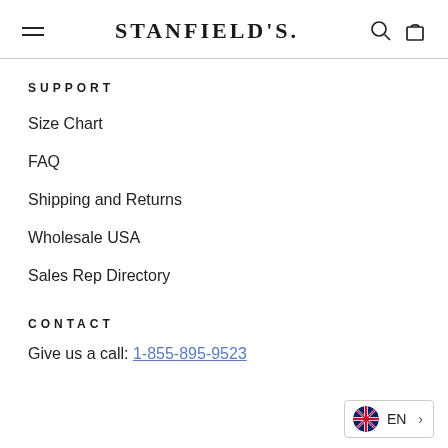STANFIELD'S
SUPPORT
Size Chart
FAQ
Shipping and Returns
Wholesale USA
Sales Rep Directory
CONTACT
Give us a call: 1-855-895-9523